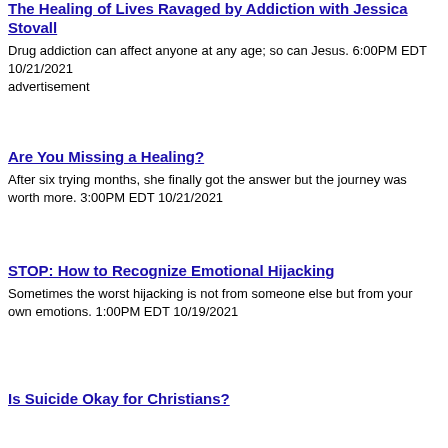The Healing of Lives Ravaged by Addiction with Jessica Stovall
Drug addiction can affect anyone at any age; so can Jesus. 6:00PM EDT 10/21/2021
advertisement
Are You Missing a Healing?
After six trying months, she finally got the answer but the journey was worth more. 3:00PM EDT 10/21/2021
STOP: How to Recognize Emotional Hijacking
Sometimes the worst hijacking is not from someone else but from your own emotions. 1:00PM EDT 10/19/2021
Is Suicide Okay for Christians?